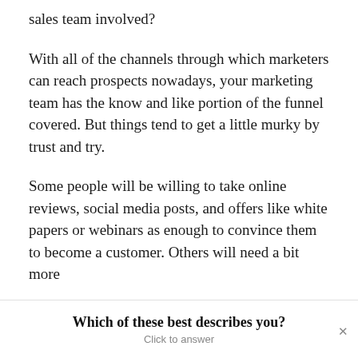sales team involved?
With all of the channels through which marketers can reach prospects nowadays, your marketing team has the know and like portion of the funnel covered. But things tend to get a little murky by trust and try.
Some people will be willing to take online reviews, social media posts, and offers like white papers or webinars as enough to convince them to become a customer. Others will need a bit more
Which of these best describes you?
Click to answer